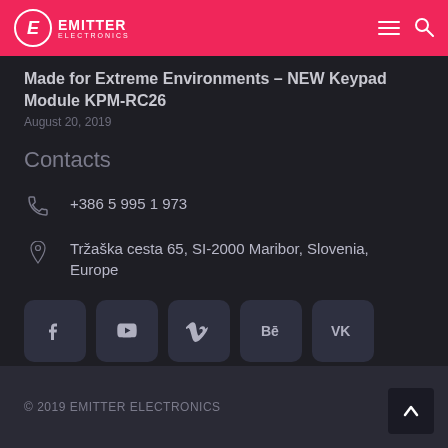EMITTER ELECTRONICS
Made for Extreme Environments – NEW Keypad Module KPM-RC26
August 20, 2019
Contacts
+386 5 995 1 973
Tržaška cesta 65, SI-2000 Maribor, Slovenia, Europe
[Figure (infographic): Social media icons: Facebook, YouTube, Vimeo, Behance, VK]
© 2019 EMITTER ELECTRONICS